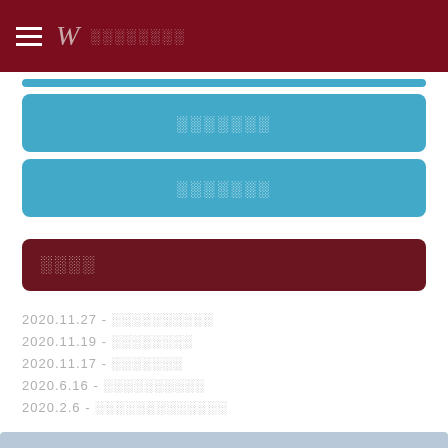W ░░░░░░░░
░░░░░░░
░░░░░░░
░░░░
2020.11.27 - ░░░░░░░░░░
2020.11.19 - ░░░░░░░░
2020.11.17 - ░░░░░░░
2020.6.16 - ░░░░░░░░░░
2020.2.6 - ░░░░░░░░░░░░░